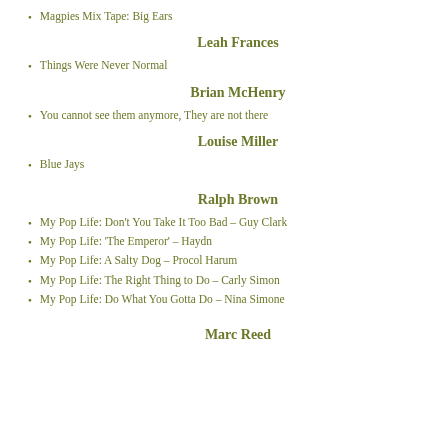Magpies Mix Tape: Big Ears
Leah Frances
Things Were Never Normal
Brian McHenry
You cannot see them anymore, They are not there
Louise Miller
Blue Jays
Ralph Brown
My Pop Life: Don't You Take It Too Bad – Guy Clark
My Pop Life: 'The Emperor' – Haydn
My Pop Life: A Salty Dog  –  Procol Harum
My Pop Life: The Right Thing to Do – Carly Simon
My Pop Life: Do What You Gotta Do – Nina Simone
Marc Reed